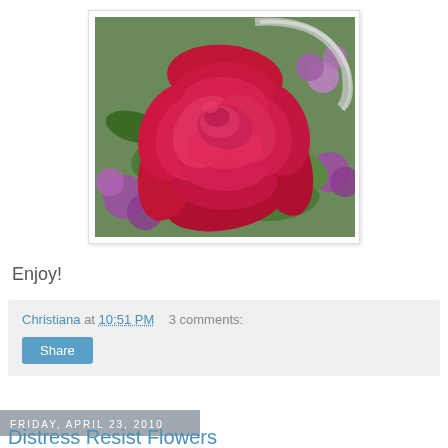[Figure (photo): Close-up photo of a large red rose surrounded by purple flowers and green leaves in a basket arrangement]
Enjoy!
Christiana at 10:51 PM   3 comments:
Share
Friday, April 23, 2010
Distress Resist Flowers